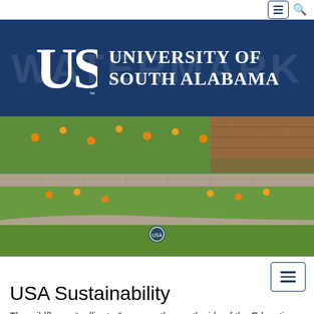[Figure (logo): University of South Alabama logo with USA monogram on dark navy blue background, with watermark text in the background.]
[Figure (photo): A wildflower pollinator garden with green grass and orange/yellow flowers beside a brick building, tiered stone retaining walls visible.]
USA Sustainability
The wildflower "pollinator" area on the south side of the Education